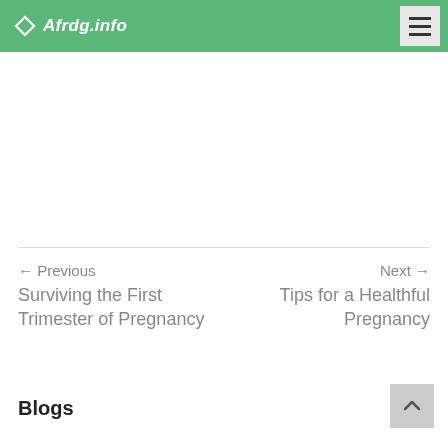Afrdg.info
← Previous
Surviving the First Trimester of Pregnancy
Next →
Tips for a Healthful Pregnancy
Blogs